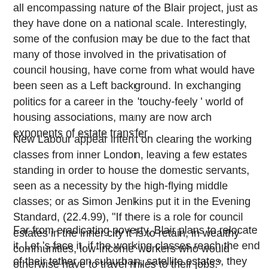all encompassing nature of the Blair project, just as they have done on a national scale. Interestingly, some of the confusion may be due to the fact that many of those involved in the privatisation of council housing, have come from what would have been seen as a Left background. In exchanging politics for a career in the 'touchy-feely ' world of housing associations, many are now arch exponents of estate transfer.
New Labour appear intent on clearing the working classes from inner London, leaving a few estates standing in order to house the domestic servants, seen as a necessity by the high-flying middle classes; or as Simon Jenkins put it in the Evening Standard, (22.4.99), "If there is a role for council estates in the inner city it is to retain, in wealthy communities, low-income workers who would otherwise have to travel miles to their jobs."
Far from eradicating poverty, Blair plans to relocate it. Let 's face it, if the working classes reach the end of their tether on suburban, satellite estates, they can, like their French cousins, riot from dawn to dusk without it spilling the froth